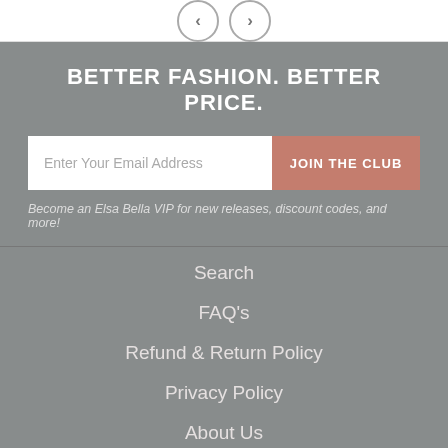[Figure (screenshot): Navigation arrows (left and right) on white bar at top of page]
BETTER FASHION. BETTER PRICE.
Enter Your Email Address
JOIN THE CLUB
Become an Elsa Bella VIP for new releases, discount codes, and more!
Search
FAQ's
Refund & Return Policy
Privacy Policy
About Us